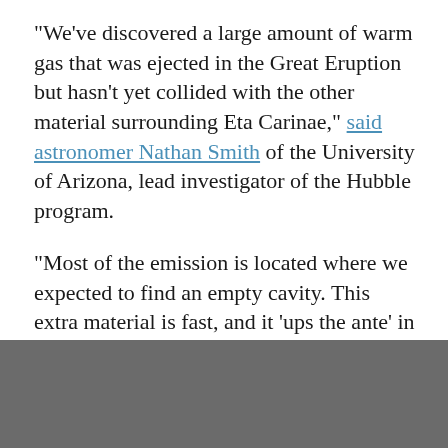"We've discovered a large amount of warm gas that was ejected in the Great Eruption but hasn't yet collided with the other material surrounding Eta Carinae," said astronomer Nathan Smith of the University of Arizona, lead investigator of the Hubble program.
"Most of the emission is located where we expected to find an empty cavity. This extra material is fast, and it 'ups the ante' in terms of the total energy of an already powerful stellar blast."
[Figure (other): Dark grey/charcoal colored footer bar at the bottom of the page]